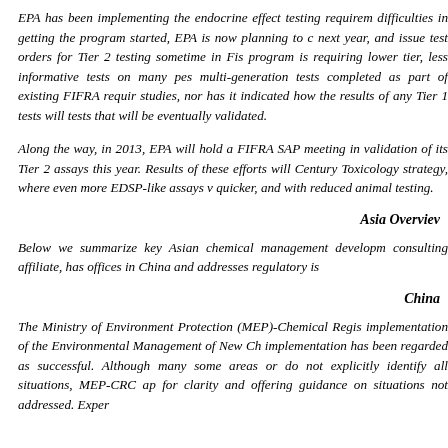EPA has been implementing the endocrine effect testing requirements. Despite difficulties in getting the program started, EPA is now planning to complete Tier 1 testing next year, and issue test orders for Tier 2 testing sometime in Fiscal Year 2013. The program is requiring lower tier, less informative tests on many pesticides that have multi-generation tests completed as part of existing FIFRA requirements, nor more recent studies, nor has it indicated how the results of any Tier 1 tests will screen out Tier 2 tests that will be eventually validated.
Along the way, in 2013, EPA will hold a FIFRA SAP meeting in part to address validation of its Tier 2 assays this year. Results of these efforts will feed into the 21st Century Toxicology strategy, where even more EDSP-like assays will be done cheaper, quicker, and with reduced animal testing.
Asia Overview
Below we summarize key Asian chemical management developments. Acta Group, our consulting affiliate, has offices in China and addresses regulatory issues there.
China
The Ministry of Environment Protection (MEP)-Chemical Registration Center (CRC) implementation of the Environmental Management of New Chemical Substances implementation has been regarded as successful. Although many aspects lack guidance in some areas or do not explicitly identify all situations, MEP-CRC ap for clarity and offering guidance on situations not addressed. Exper